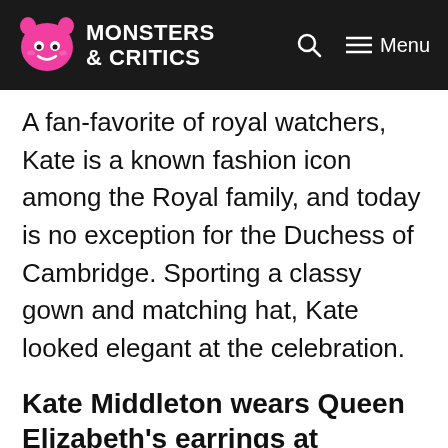Monsters & Critics — Menu
A fan-favorite of royal watchers, Kate is a known fashion icon among the Royal family, and today is no exception for the Duchess of Cambridge. Sporting a classy gown and matching hat, Kate looked elegant at the celebration.
Kate Middleton wears Queen Elizabeth's earrings at Platinum Jubilee
Kate's beautiful dress was a custom piece from Emilia Wickstead. The yellow gown featured a criss-cross waist and fell below Kate's knees, though her ankles were still visible. The dress had a matching hat featuring floral details by